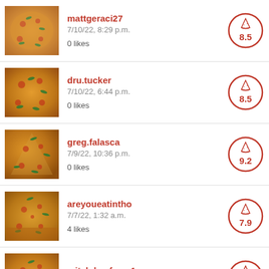mattgeraci27
7/10/22, 8:29 p.m.
0 likes
Score: 8.5
dru.tucker
7/10/22, 6:44 p.m.
0 likes
Score: 8.5
greg.falasca
7/9/22, 10:36 p.m.
0 likes
Score: 9.2
areyoueatintho
7/7/22, 1:32 a.m.
4 likes
Score: 7.9
mitch.kaufman1
7/2/22, 6:20 p.m.
Score: 7.0